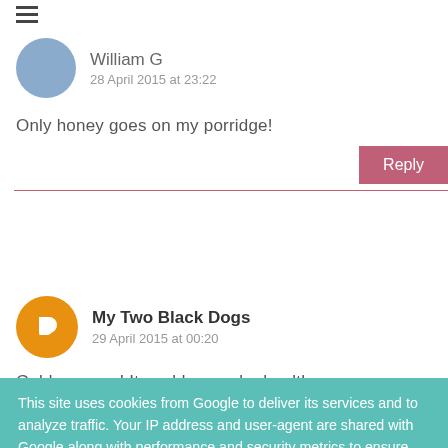William G
28 April 2015 at 23:22
Only honey goes on my porridge!
Reply
My Two Black Dogs
29 April 2015 at 00:20
Golden syrup! It could never be healthy...
This site uses cookies from Google to deliver its services and to analyze traffic. Your IP address and user-agent are shared with Google along with performance and security metrics to ensure quality of service, generate usage statistics, and to detect and address abuse.
LEARN MORE   OK